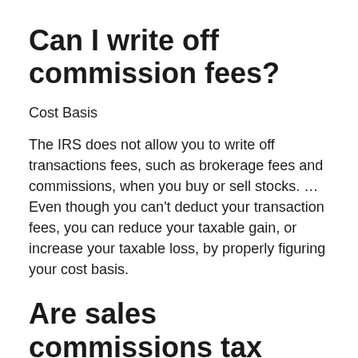Can I write off commission fees?
Cost Basis
The IRS does not allow you to write off transactions fees, such as brokerage fees and commissions, when you buy or sell stocks. … Even though you can't deduct your transaction fees, you can reduce your taxable gain, or increase your taxable loss, by properly figuring your cost basis.
Are sales commissions tax deductible?